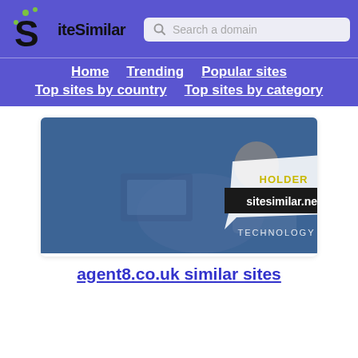SiteSimilar — Search a domain — Home | Trending | Popular sites | Top sites by country | Top sites by category
[Figure (screenshot): Website screenshot thumbnail for agent8.co.uk showing a business/technology theme with a person at a computer, overlaid with a speech bubble graphic and 'sitesimilar.net' watermark, and 'TECHNOLOGY' text below.]
agent8.co.uk similar sites